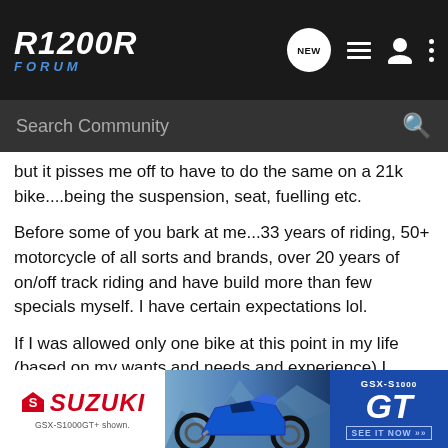R1200R FORUM
but it pisses me off to have to do the same on a 21k bike....being the suspension, seat, fuelling etc.
Before some of you bark at me...33 years of riding, 50+ motorcycle of all sorts and brands, over 20 years of on/off track riding and have build more than few specials myself. I have certain expectations lol.
If I was allowed only one bike at this point in my life (based on my wants and needs and experience) I couldn't think of anything else right now. But off coarse seat and Ohlin's is a must 😀
Amen...
[Figure (advertisement): Suzuki GSX-S1000 GT motorcycle advertisement banner with blue gradient background, motorcycle image, and 'GSX-S1000 GT SEE IT NOW' text]